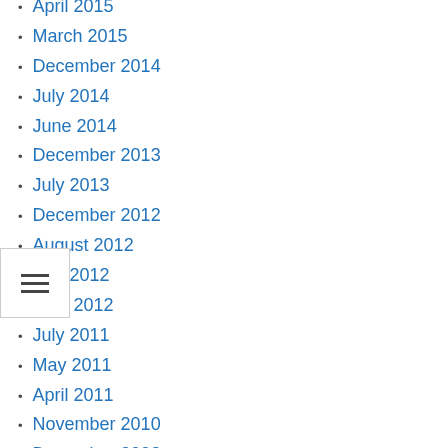April 2015
March 2015
December 2014
July 2014
June 2014
December 2013
July 2013
December 2012
August 2012
July 2012
April 2012
July 2011
May 2011
April 2011
November 2010
December 2008
May 2005